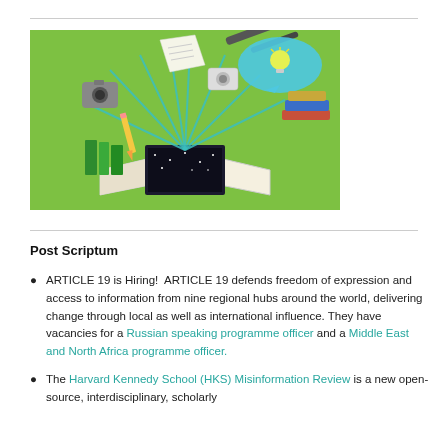[Figure (illustration): Colorful illustration on green background showing an open book/laptop with various objects flying out: books, papers, a camera, a pencil, a speech bubble with a lightbulb, stacked books, connected by teal/cyan lines suggesting information flow.]
Post Scriptum
ARTICLE 19 is Hiring! ARTICLE 19 defends freedom of expression and access to information from nine regional hubs around the world, delivering change through local as well as international influence. They have vacancies for a Russian speaking programme officer and a Middle East and North Africa programme officer.
The Harvard Kennedy School (HKS) Misinformation Review is a new open-source, interdisciplinary, scholarly